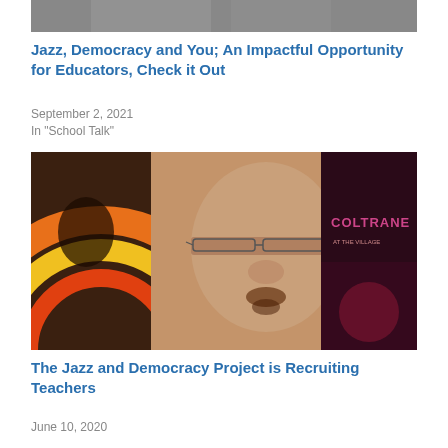[Figure (photo): Partial photo visible at top of page, appears to be people in a group setting]
Jazz, Democracy and You; An Impactful Opportunity for Educators, Check it Out
September 2, 2021
In "School Talk"
[Figure (photo): Close-up portrait of a man with glasses and a goatee, with Coltrane album artwork visible in the background]
The Jazz and Democracy Project is Recruiting Teachers
June 10, 2020